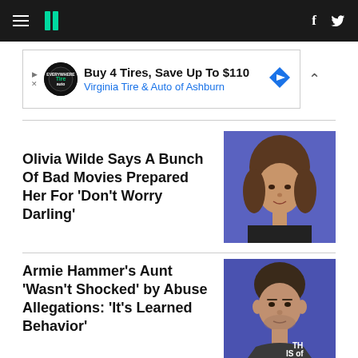HuffPost navigation with hamburger menu, logo (||), Facebook and Twitter icons
[Figure (screenshot): Advertisement banner: Buy 4 Tires, Save Up To $110 — Virginia Tire & Auto of Ashburn]
Olivia Wilde Says A Bunch Of Bad Movies Prepared Her For 'Don't Worry Darling'
[Figure (photo): Photo of Olivia Wilde against a blue background]
Armie Hammer's Aunt 'Wasn't Shocked' by Abuse Allegations: 'It's Learned Behavior'
[Figure (photo): Photo of Armie Hammer against a blue background]